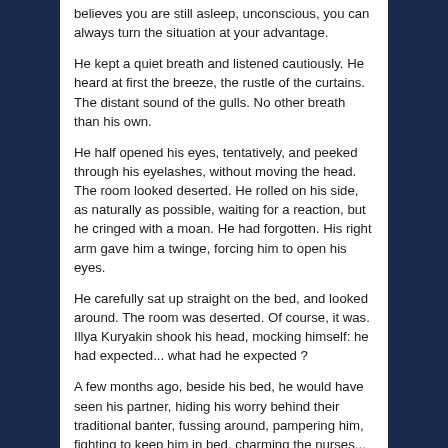believes you are still asleep, unconscious, you can always turn the situation at your advantage.
He kept a quiet breath and listened cautiously. He heard at first the breeze, the rustle of the curtains. The distant sound of the gulls. No other breath than his own.
He half opened his eyes, tentatively, and peeked through his eyelashes, without moving the head. The room looked deserted. He rolled on his side, as naturally as possible, waiting for a reaction, but he cringed with a moan. He had forgotten. His right arm gave him a twinge, forcing him to open his eyes.
He carefully sat up straight on the bed, and looked around. The room was deserted. Of course, it was. Illya Kuryakin shook his head, mocking himself: he had expected... what had he expected ?
A few months ago, beside his bed, he would have seen his partner, hiding his worry behind their traditional banter, fussing around, pampering him, fighting to keep him in bed, charming the nurses... A few months ago, and so many times... But that was just memory.
He stood up and steadily headed towards the French windows, wincing a little. He didn't feel so well. He couldn't help staggering, eventually clutching at the